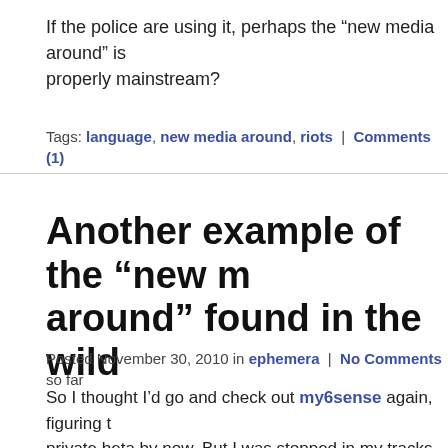If the police are using it, perhaps the “new media around” is properly mainstream?
Tags: language, new media around, riots | Comments (1)
Another example of the “new media around” found in the wild
Posted November 30, 2010 in ephemera | No Comments so far
So I thought I’d go and check out my6sense again, figuring they must have moved out of private beta by now. But I was stopped in my tracks on the homepage by the most visible example of the “new media around” I’ve seen to date: